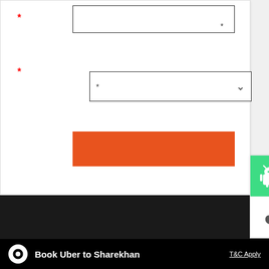[Figure (screenshot): Form section with two input fields (one text input with asterisk, one dropdown with asterisk), and an orange submit button below them.]
[Figure (screenshot): Side panel showing Android (green) and iOS (Apple) app download icons.]
Cookie Information
On our website, we use services (including from third-party providers) that help us to improve our online presence (optimization of website) and to display content that is geared to their interests. We need your consent before being able to use these services.1 is expected to boost economic growth through capital expenditure &amp; infrastruct...
Book Uber to Sharekhan
T&C Apply